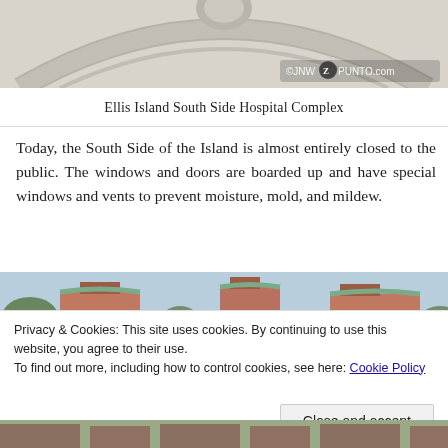[Figure (photo): Close-up of stone arch architectural detail on Ellis Island South Side Hospital Complex building, showing curved stonework and masonry. Watermark reads ©JNW Z PUNTO.com]
Ellis Island South Side Hospital Complex
Today, the South Side of the Island is almost entirely closed to the public. The windows and doors are boarded up and have special windows and vents to prevent moisture, mold, and mildew.
[Figure (photo): Partial view of Ellis Island South Side Hospital Complex buildings with red brick structures and green copper roofing visible against a light blue sky, with trees in the foreground.]
Privacy & Cookies: This site uses cookies. By continuing to use this website, you agree to their use.
To find out more, including how to control cookies, see here: Cookie Policy
[Figure (photo): Bottom strip of another photo showing Ellis Island hospital buildings.]